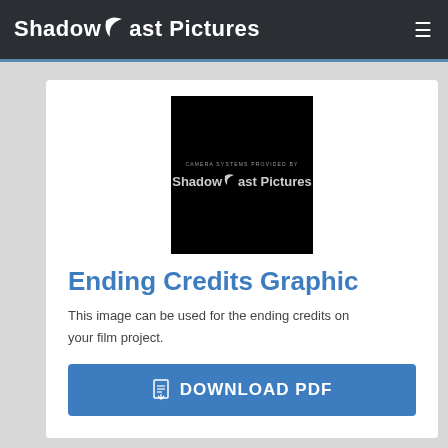ShadowCast Pictures
[Figure (logo): ShadowCast Pictures logo on black background with text 'CAMERA SYSTEMS PROVIDED BY' above the logo]
Ending Credits Graphic
This image can be used for the ending credits on your film project.
DOWNLOAD PDF